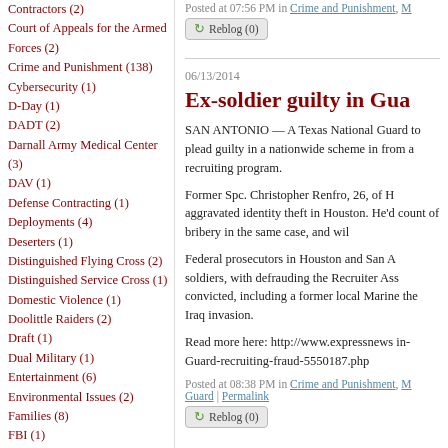Contractors (2)
Court of Appeals for the Armed Forces (2)
Crime and Punishment (138)
Cybersecurity (1)
D-Day (1)
DADT (2)
Darnall Army Medical Center (3)
DAV (1)
Defense Contracting (1)
Deployments (4)
Deserters (1)
Distinguished Flying Cross (2)
Distinguished Service Cross (1)
Domestic Violence (1)
Doolittle Raiders (2)
Draft (1)
Dual Military (1)
Entertainment (6)
Environmental Issues (2)
Families (8)
FBI (1)
FDA (1)
Fliers (8)
Fort Bliss (2)
Fort Campbell (1)
Fort Hood (77)
Posted at 07:56 PM in Crime and Punishment, M
Ex-soldier guilty in Gua
06/13/2014
SAN ANTONIO — A Texas National Guard to plead guilty in a nationwide scheme in from a recruiting program.
Former Spc. Christopher Renfro, 26, of H aggravated identity theft in Houston. He'd count of bribery in the same case, and wil
Federal prosecutors in Houston and San A soldiers, with defrauding the Recruiter Ass convicted, including a former local Marine the Iraq invasion.
Read more here: http://www.expressnews in-Guard-recruiting-fraud-5550187.php
Posted at 08:38 PM in Crime and Punishment, M Guard | Permalink